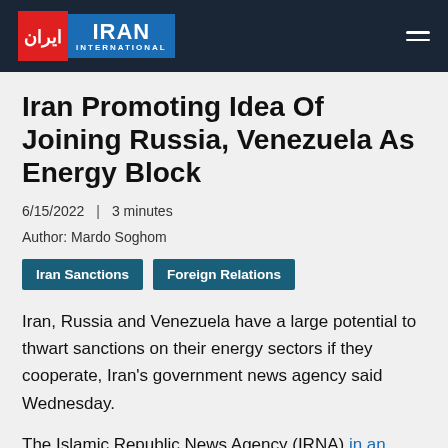Iran International
Iran Promoting Idea Of Joining Russia, Venezuela As Energy Block
6/15/2022  |  3 minutes
Author: Mardo Soghom
Iran Sanctions   Foreign Relations
Iran, Russia and Venezuela have a large potential to thwart sanctions on their energy sectors if they cooperate, Iran's government news agency said Wednesday.
The Islamic Republic News Agency (IRNA) in an